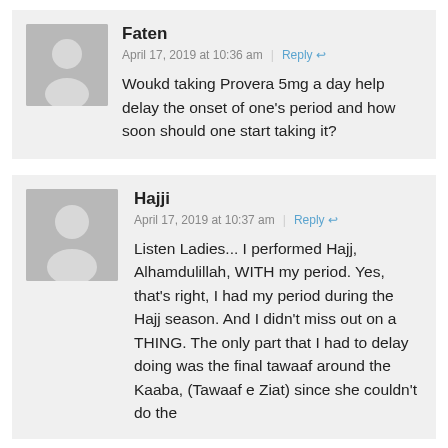Faten
April 17, 2019 at 10:36 am | Reply
Woukd taking Provera 5mg a day help delay the onset of one's period and how soon should one start taking it?
Hajji
April 17, 2019 at 10:37 am | Reply
Listen Ladies... I performed Hajj, Alhamdulillah, WITH my period. Yes, that's right, I had my period during the Hajj season. And I didn't miss out on a THING. The only part that I had to delay doing was the final tawaaf around the Kaaba, (Tawaaf e Ziarat) since she couldn't do the...